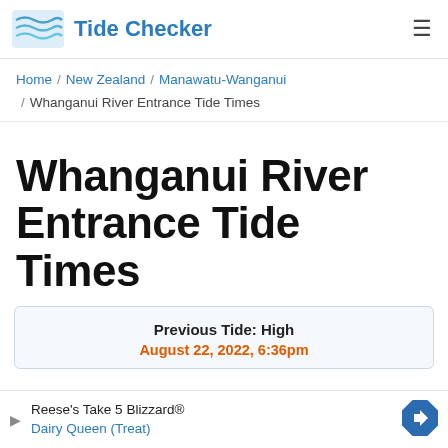Tide Checker
Home / New Zealand / Manawatu-Wanganui / Whanganui River Entrance Tide Times
Whanganui River Entrance Tide Times
Previous Tide: High
August 22, 2022, 6:36pm
Reese's Take 5 Blizzard® Dairy Queen (Treat)